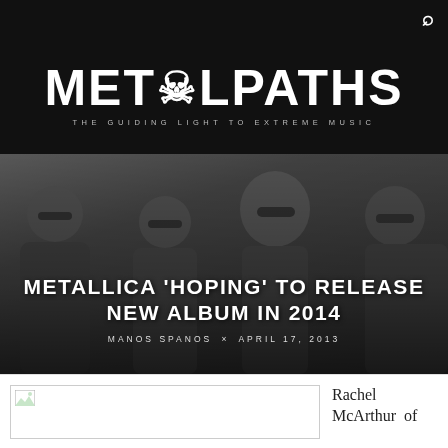METALPATHS — THE GUIDING LIGHT TO EXTREME MUSIC
[Figure (photo): Black and white photo of four band members (Metallica) wearing sunglasses and dark jackets, posed together]
METALLICA 'HOPING' TO RELEASE NEW ALBUM IN 2014
MANOS SPANOS × APRIL 17, 2013
[Figure (photo): Broken/missing image placeholder in article body]
Rachel McArthur of